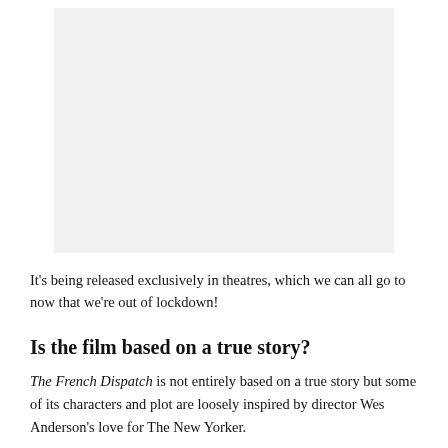[Figure (photo): A light gray rectangular image placeholder occupying the top portion of the page.]
It's being released exclusively in theatres, which we can all go to now that we're out of lockdown!
Is the film based on a true story?
The French Dispatch is not entirely based on a true story but some of its characters and plot are loosely inspired by director Wes Anderson's love for The New Yorker.
According to a 2020 article by the publication, Bill Murray's